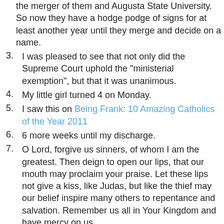(continued) the merger of them and Augusta State University. So now they have a hodge podge of signs for at least another year until they merge and decide on a name.
3. I was pleased to see that not only did the Supreme Court uphold the "ministerial exemption", but that it was unanimous.
4. My little girl turned 4 on Monday.
5. I saw this on Being Frank: 10 Amazing Catholics of the Year 2011
6. 6 more weeks until my discharge.
7. O Lord, forgive us sinners, of whom I am the greatest. Then deign to open our lips, that our mouth may proclaim your praise. Let these lips not give a kiss, like Judas, but like the thief may our belief inspire many others to repentance and salvation. Remember us all in Your Kingdom and have mercy on us.
Be sure to check out the host post for this week's 7 Quick Takes.
May God bless all who read my ramblings,